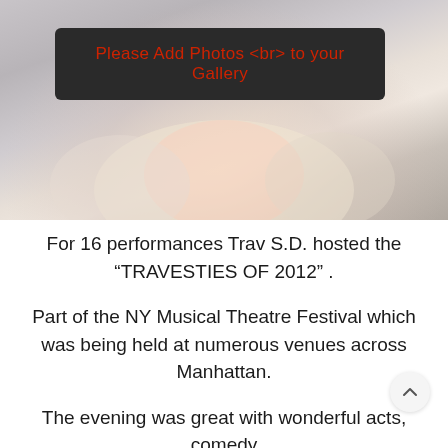[Figure (photo): Blurred/blurred photo placeholder with dark banner overlay reading 'Please Add Photos <br> to your Gallery' in red text on dark background]
For 16 performances Trav S.D. hosted the “TRAVESTIES OF 2012” .
Part of the NY Musical Theatre Festival which was being held at numerous venues across Manhattan.
The evening was great with wonderful acts, comedy